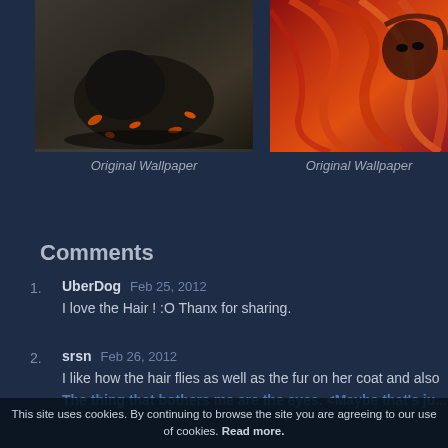[Figure (illustration): Dark fantasy artwork showing a creature/warrior figure with orange flower petals scattered around, dark moody background]
Original Wallpaper
[Figure (illustration): Anime/fantasy artwork showing a character with flowing orange/red hair and dark accessories on a red feathered background]
Original Wallpaper
Comments
UberDog Feb 25, 2012
I love the Hair ! :O Thanx for sharing.
srsn Feb 26, 2012
I like how the hair flies as well as the fur on her coat and also
The thing that bothers me are the eyes. <Maybe that's ju...
This site uses cookies. By continuing to browse the site you are agreeing to our use of cookies. Read more.